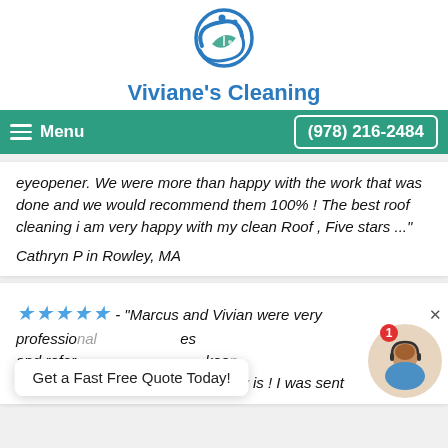[Figure (logo): Viviane's Cleaning circular logo with blue water swirl and green leaf motif]
Viviane's Cleaning
Menu  (978) 216-2484
eyeopener. We were more than happy with the work that was done and we would recommend them 100% ! The best roof cleaning i am very happy with my clean Roof , Five stars ..."
Cathryn P in Rowley, MA
★★★★★ - "Marcus and Vivian were very professional ... es and refer... keep, Alage And Moss Off My Roof really is ! I was sent
Get a Fast Free Quote Today!